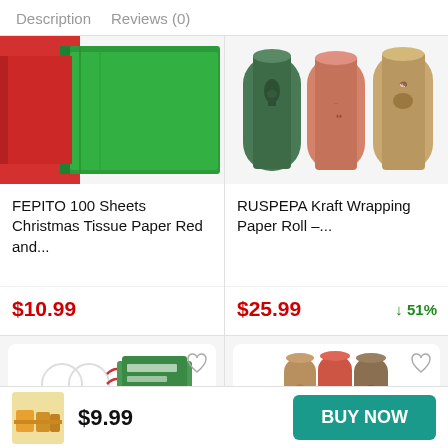Description   Reviews (0)
[Figure (photo): FEPITO Christmas tissue paper, red and green folded sheets]
FEPITO 100 Sheets Christmas Tissue Paper Red and...
$10.99
[Figure (photo): RUSPEPA Kraft wrapping paper rolls with nature/holiday patterns]
RUSPEPA Kraft Wrapping Paper Roll –...
$25.99
↓ 51%
[Figure (photo): Bottom left product card with ribbons and holiday cards]
[Figure (photo): Bottom right product card with kraft/patterned wrapping paper rolls]
$9.99
BUY NOW